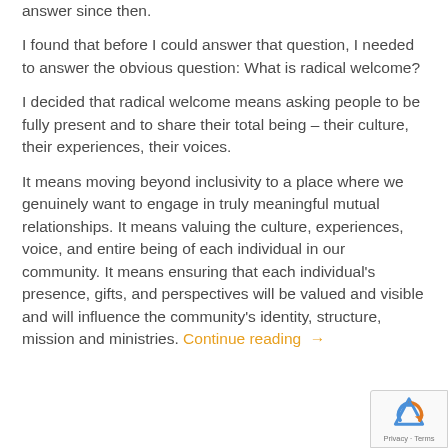answer since then.
I found that before I could answer that question, I needed to answer the obvious question: What is radical welcome?
I decided that radical welcome means asking people to be fully present and to share their total being – their culture, their experiences, their voices.
It means moving beyond inclusivity to a place where we genuinely want to engage in truly meaningful mutual relationships. It means valuing the culture, experiences, voice, and entire being of each individual in our community. It means ensuring that each individual's presence, gifts, and perspectives will be valued and visible and will influence the community's identity, structure, mission and ministries. Continue reading →